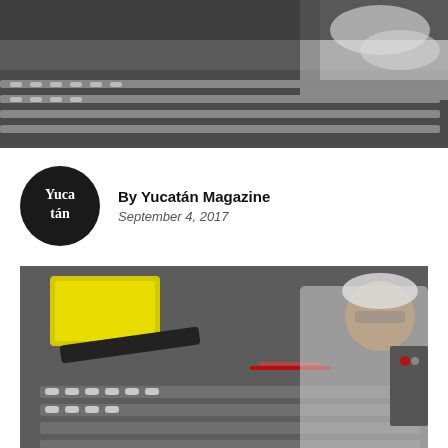[Figure (photo): Close-up of a worker in white lab coat examining circuit boards or electronic components on a production line, viewed from above]
[Figure (logo): Yucatán Magazine circular logo — black circle with white text reading 'Yuca tán']
By Yucatán Magazine
September 4, 2017
[Figure (photo): Worker in white lab coat and safety glasses inspecting items on a manufacturing conveyor line with yellow bins and red laser scanner visible]